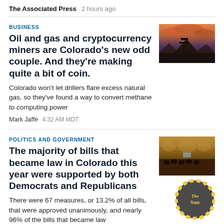The Associated Press  2 hours ago
BUSINESS
Oil and gas and cryptocurrency miners are Colorado's new odd couple. And they're making quite a bit of coin.
Colorado won't let drillers flare excess natural gas, so they've found a way to convert methane to computing power
Mark Jaffe  4:32 AM MDT
[Figure (photo): Oil pump jacks at dusk with orange and purple cloudy sky]
POLITICS AND GOVERNMENT
The majority of bills that became law in Colorado this year were supported by both Democrats and Republicans
There were 67 measures, or 13.2% of all bills, that were approved unanimously, and nearly 96% of the bills that became law
[Figure (photo): Colorado legislature chamber with people seated, ornate golden interior]
[Figure (logo): The Sun logo — circular yellow badge with sun ray border]